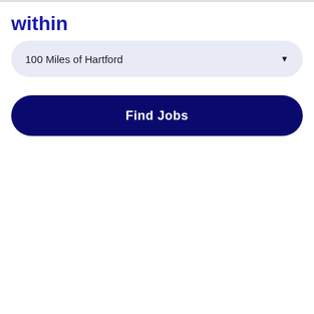within
100 Miles of Hartford
Find Jobs